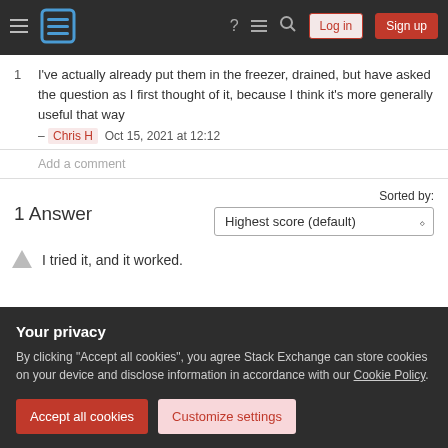Stack Exchange navigation bar with Log in and Sign up buttons
1  I've actually already put them in the freezer, drained, but have asked the question as I first thought of it, because I think it's more generally useful that way – Chris H  Oct 15, 2021 at 12:12
Add a comment
1 Answer
Sorted by: Highest score (default)
I tried it, and it worked.
Your privacy
By clicking "Accept all cookies", you agree Stack Exchange can store cookies on your device and disclose information in accordance with our Cookie Policy.
Accept all cookies   Customize settings
high, the kidney beans were also soft, and split but